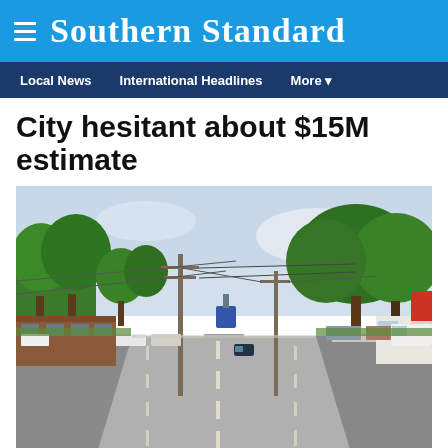Southern Standard
Local News   International Headlines   More
City hesitant about $15M estimate
[Figure (photo): Street-level view of a multi-lane road in a small city with utility poles, power lines, parked vehicles, businesses and large trees lining the sides, taken from the center of the road looking forward.]